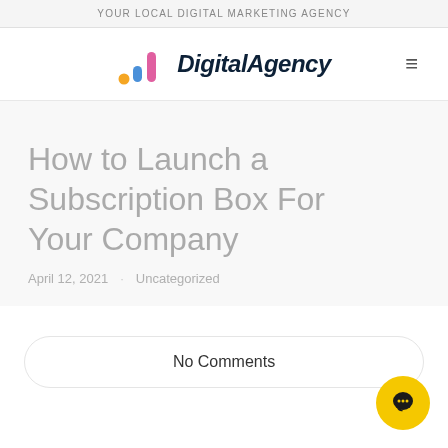YOUR LOCAL DIGITAL MARKETING AGENCY
[Figure (logo): DigitalAgency logo with colorful bar chart icon and italic bold text, with hamburger menu icon]
How to Launch a Subscription Box For Your Company
April 12, 2021   Uncategorized
No Comments